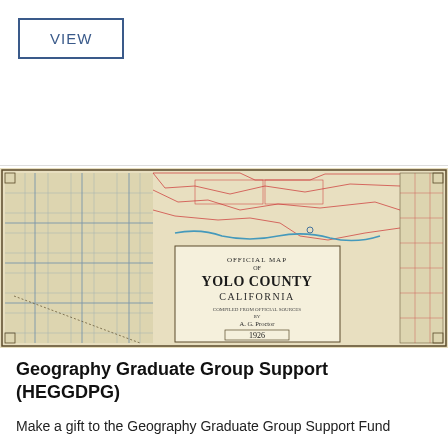VIEW
[Figure (map): Official Map of Yolo County California, compiled from official sources by A.G. Proctor, 1926. Historical county map showing grid sections, roads, waterways, and boundaries in sepia/tan tones with red and blue markings.]
Geography Graduate Group Support (HEGGDPG)
Make a gift to the Geography Graduate Group Support Fund